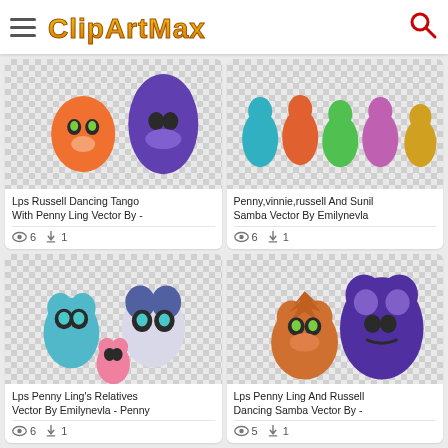ClipArtMax
[Figure (illustration): Lps Russell Dancing Tango With Penny Ling cartoon vector clipart - orange cat and purple character]
Lps Russell Dancing Tango With Penny Ling Vector By -
6 views, 1 download
[Figure (illustration): Penny, vinnie, russell and Sunil Samba cartoon vector clipart - colorful LPS characters dancing]
Penny,vinnie,russell And Sunil Samba Vector By Emilynevla
6 views, 1 download
[Figure (illustration): Lps Penny Ling's Relatives cartoon vector - blue and white panda characters with pink small character]
Lps Penny Ling's Relatives Vector By Emilynevla - Penny
6 views, 1 download
[Figure (illustration): Lps Penny Ling And Russell Dancing Samba cartoon vector - lion and purple bear character]
Lps Penny Ling And Russell Dancing Samba Vector By -
5 views, 1 download